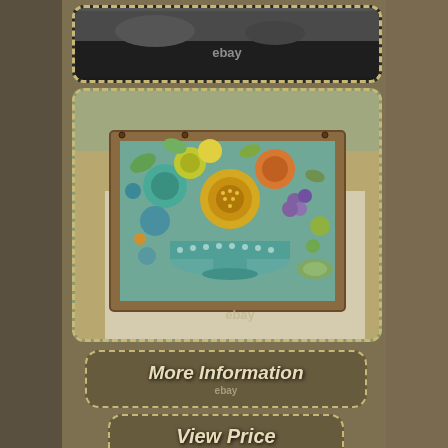[Figure (photo): Partial top view of a mosaic wall hanging artwork on dark background with eBay watermark]
[Figure (photo): Mosaic wall hanging by Renate Rhein circa 1963, titled 'Still Life', featuring colorful ceramic discs and tiles arranged in a framed wooden panel showing fruits/botanicals in aquas, greens, yellows, and oranges. eBay watermark visible.]
[Figure (other): More Information button with dashed border and eBay watermark]
[Figure (other): View Price button with dashed border and eBay watermark]
This is a fantastic wall hanging by Renate Rhein circa 1963. It has been referred to as'"Still Life" appropriately. The colors are very med century with aquas, greens, yellows, and oranges.